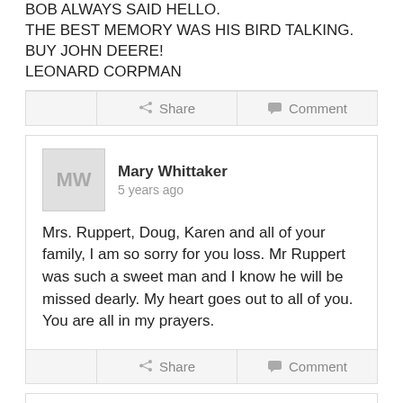BOB ALWAYS SAID HELLO. THE BEST MEMORY WAS HIS BIRD TALKING. BUY JOHN DEERE!
LEONARD CORPMAN
Share   Comment
Mary Whittaker
5 years ago
Mrs. Ruppert, Doug, Karen and all of your family, I am so sorry for you loss. Mr Ruppert was such a sweet man and I know he will be missed dearly. My heart goes out to all of you. You are all in my prayers.
Share   Comment
Mike Young
5 years ago
People don't get any better than Bob Ruppert. He was a